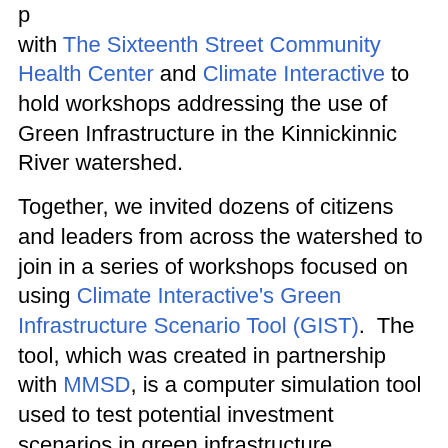p with The Sixteenth Street Community Health Center and Climate Interactive to hold workshops addressing the use of Green Infrastructure in the Kinnickinnic River watershed.
Together, we invited dozens of citizens and leaders from across the watershed to join in a series of workshops focused on using Climate Interactive's Green Infrastructure Scenario Tool (GIST). The tool, which was created in partnership with MMSD, is a computer simulation tool used to test potential investment scenarios in green infrastructure.
The tool helps answer the following questions:
1. What are the benefits that might arise from a scale up of green infrastructure in the watershed?
2. Which infrastructure choices produce the benefits that residents of the watershed would most like to